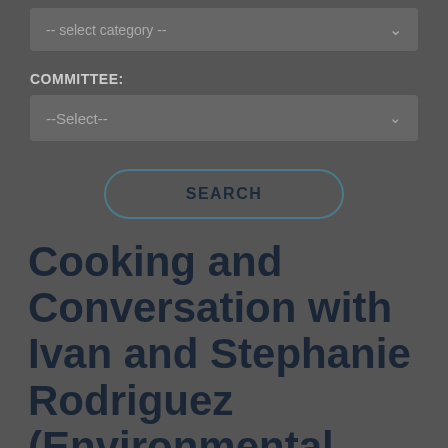-- select category --
COMMITTEE:
--Select--
SEARCH
Cooking and Conversation with Ivan and Stephanie Rodriguez (Environmental and